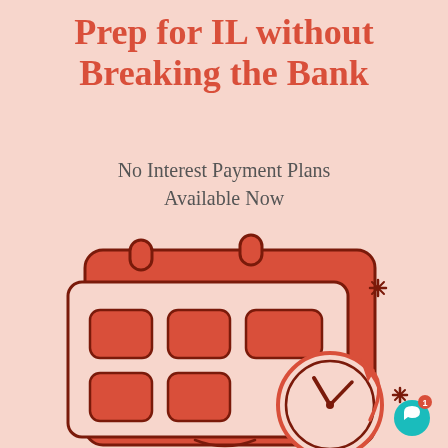Prep for IL without Breaking the Bank
No Interest Payment Plans Available Now
[Figure (illustration): Illustration of a calendar with rounded square day-boxes in coral/red color, overlapping with a clock showing an arrow, plus decorative sparkle/asterisk marks. The calendar and clock are drawn in a bold outline cartoon style in red/coral on a light pink background.]